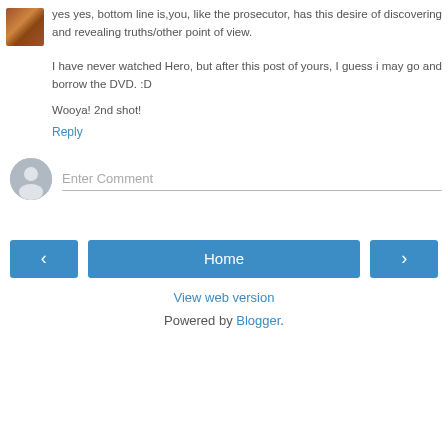yes yes, bottom line is,you, like the prosecutor, has this desire of discovering and revealing truths/other point of view.
I have never watched Hero, but after this post of yours, I guess i may go and borrow the DVD. :D
Wooya! 2nd shot!
Reply
Enter Comment
Home
View web version
Powered by Blogger.